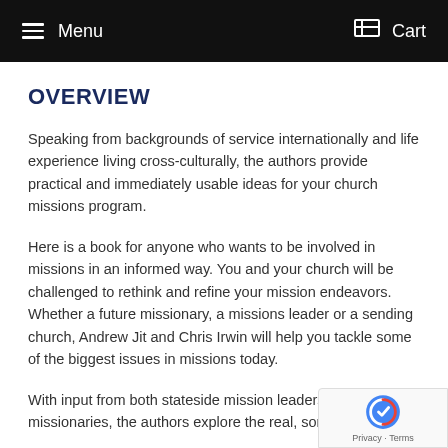Menu  Cart
OVERVIEW
Speaking from backgrounds of service internationally and life experience living cross-culturally, the authors provide practical and immediately usable ideas for your church missions program.
Here is a book for anyone who wants to be involved in missions in an informed way. You and your church will be challenged to rethink and refine your mission endeavors. Whether a future missionary, a missions leader or a sending church, Andrew Jit and Chris Irwin will help you tackle some of the biggest issues in missions today.
With input from both stateside mission leaders and on-field missionaries, the authors explore the real, sometimes